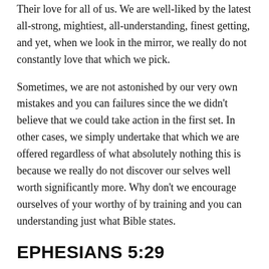Their love for all of us. We are well-liked by the latest all-strong, mightiest, all-understanding, finest getting, and yet, when we look in the mirror, we really do not constantly love that which we pick.
Sometimes, we are not astonished by our very own mistakes and you can failures since the we didn't believe that we could take action in the first set. In other cases, we simply undertake that which we are offered regardless of what absolutely nothing this is because we really do not discover our selves well worth significantly more. Why don't we encourage ourselves of your worthy of by training and you can understanding just what Bible states.
EPHESIANS 5:29
“For no you to definitely actually ever hated his own